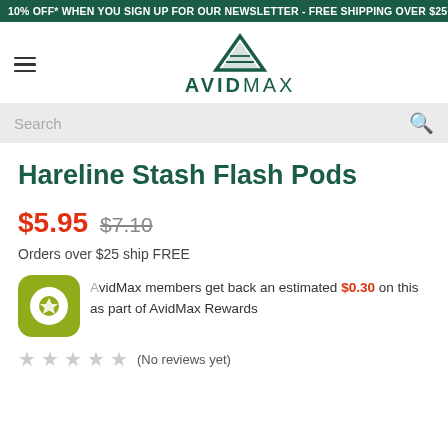10% OFF* WHEN YOU SIGN UP FOR OUR NEWSLETTER - FREE SHIPPING OVER $25
[Figure (logo): AvidMax mountain logo with text AVIDMAX]
Hareline Stash Flash Pods
$5.95  $7.10
Orders over $25 ship FREE
AvidMax members get back an estimated $0.30 on this as part of AvidMax Rewards
(No reviews yet)